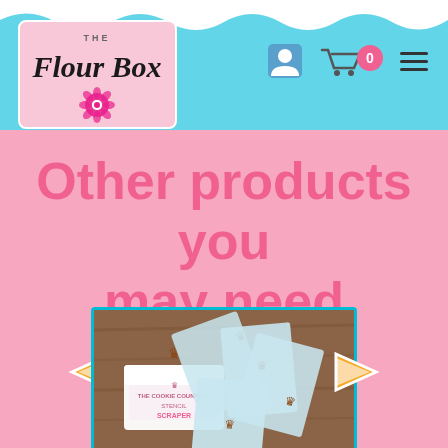[Figure (logo): The Flour Box logo with flower emblem on pink background]
Other products you may need
[Figure (photo): Cookie Countess Stencil Scraper product photo showing clear plastic scrapers with crown motifs on wooden background]